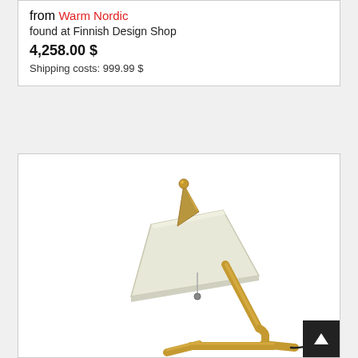from Warm Nordic
found at Finnish Design Shop
4,258.00 $
Shipping costs: 999.99 $
[Figure (photo): A Warm Nordic Brass Top table lamp with a conical cream/white shade, brass cone top finial, angled brass stem and base, with a small pull-chain.]
Warm Nordic Brass Top table la...
from Warm Nordic